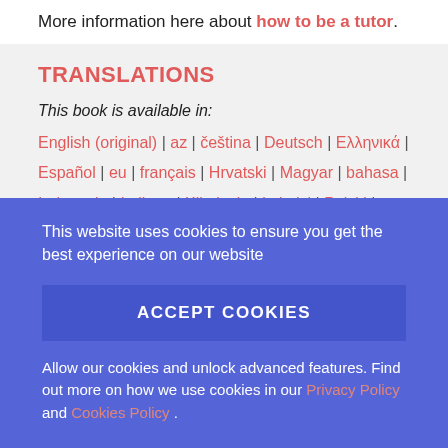More information here about how to be a tutor.
TRANSLATIONS
This book is available in:
English (original) | az | čeština | Deutsch | Ελληνικά | Español | eu | français | Hrvatski | Magyar | bahasa | ...
This website uses cookies to ensure you get the best experience on our website
ACCEPT COOKIES
Allow our cookies and unlock advanced features. Find out more on how we use cookies in our Privacy Policy and Cookies Policy .